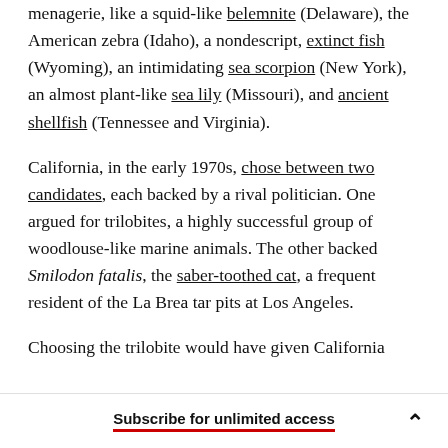menagerie, like a squid-like belemnite (Delaware), the American zebra (Idaho), a nondescript, extinct fish (Wyoming), an intimidating sea scorpion (New York), an almost plant-like sea lily (Missouri), and ancient shellfish (Tennessee and Virginia).
California, in the early 1970s, chose between two candidates, each backed by a rival politician. One argued for trilobites, a highly successful group of woodlouse-like marine animals. The other backed Smilodon fatalis, the saber-toothed cat, a frequent resident of the La Brea tar pits at Los Angeles. Choosing the trilobite would have given California
Subscribe for unlimited access